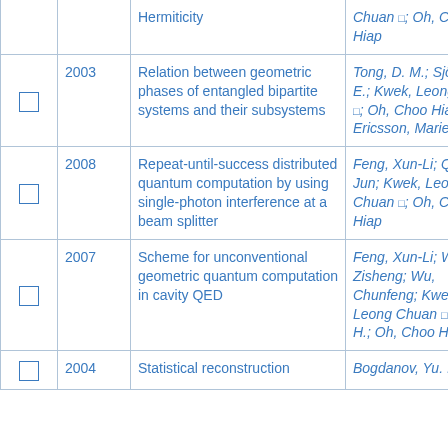|  | Year | Title | Authors |
| --- | --- | --- | --- |
| ☐ |  | Hermiticity | Chuan □; Oh, Choo Hiap |
| ☐ | 2003 | Relation between geometric phases of entangled bipartite systems and their subsystems | Tong, D. M.; Sjöqvist, E.; Kwek, Leong Chuan □; Oh, Choo Hiap; Ericsson, Marie |
| ☐ | 2008 | Repeat-until-success distributed quantum computation by using single-photon interference at a beam splitter | Feng, Xun-Li; Qian, Jun; Kwek, Leong Chuan □; Oh, Choo Hiap |
| ☐ | 2007 | Scheme for unconventional geometric quantum computation in cavity QED | Feng, Xun-Li; Wang, Zisheng; Wu, Chunfeng; Kwek, Leong Chuan □; Lai, C. H.; Oh, Choo Hiap |
| ☐ | 2004 | Statistical reconstruction | Bogdanov, Yu. I.; ... |